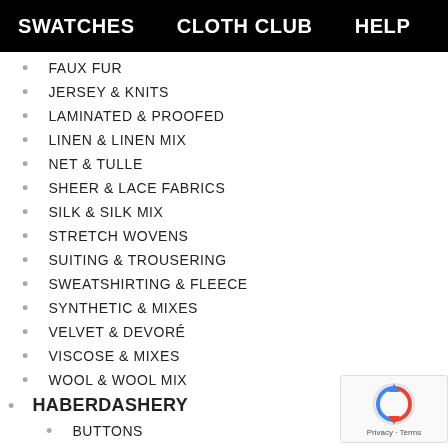SWATCHES   CLOTH CLUB   HELP
FAUX FUR
JERSEY & KNITS
LAMINATED & PROOFED
LINEN & LINEN MIX
NET & TULLE
SHEER & LACE FABRICS
SILK & SILK MIX
STRETCH WOVENS
SUITING & TROUSERING
SWEATSHIRTING & FLEECE
SYNTHETIC & MIXES
VELVET & DEVORÉ
VISCOSE & MIXES
WOOL & WOOL MIX
HABERDASHERY
BUTTONS